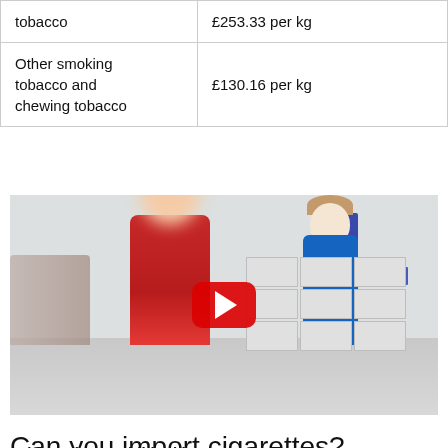|  |  |
| --- | --- |
| [Hand-rolling] tobacco | £253.33 per kg |
| Other smoking tobacco and chewing tobacco | £130.16 per kg |
[Figure (screenshot): YouTube video thumbnail showing a customs/border control scene at an airport. A person in a red jacket stands in front of a customs officer. There are stacked cigarette boxes on a table. A red YouTube play button overlay is in the center.]
Can you import cigarettes?
Tobacco is a prohibited import